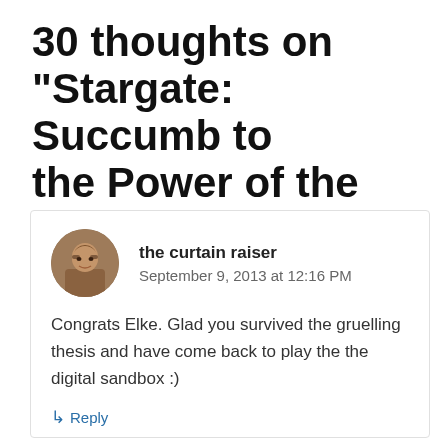30 thoughts on “Stargate: Succumb to the Power of the Ritual”
the curtain raiser
September 9, 2013 at 12:16 PM
Congrats Elke. Glad you survived the gruelling thesis and have come back to play the the digital sandbox :)
Reply